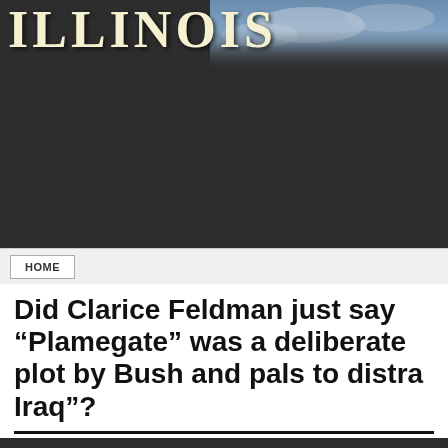[Figure (photo): Dark background header banner with large bold serif letters spelling ILLINOIS partially visible, with a sky and clouds visible on the right portion]
HOME
Did Clarice Feldman just say “Plamegate” was a deliberate plot by Bush and pals to distra Iraq”?
Ernie Souchak, Editor-in-Chief